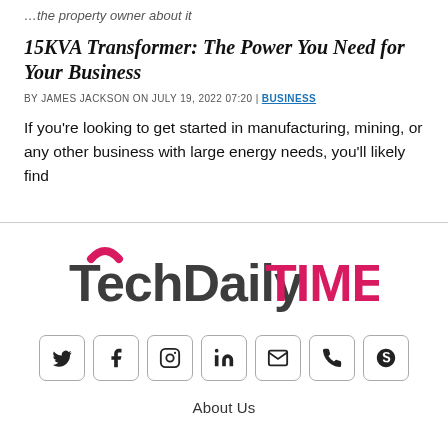…the property owner about it
15KVA Transformer: The Power You Need for Your Business
BY JAMES JACKSON ON JULY 19, 2022 07:20 | BUSINESS
If you're looking to get started in manufacturing, mining, or any other business with large energy needs, you'll likely find
[Figure (logo): TechDailyTimes logo with pink/magenta arc above the T in Tech, dark grey TechDaily text and pink TIMES text]
[Figure (infographic): Row of 7 social media icon buttons: Twitter, Facebook, Instagram, LinkedIn, Email, Phone, Skype]
About Us